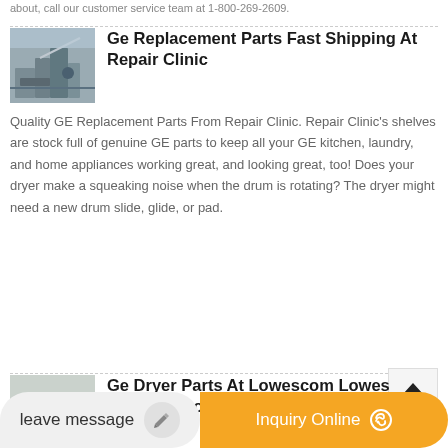about, call our customer service team at 1-800-269-2609.
Ge Replacement Parts Fast Shipping At Repair Clinic
[Figure (photo): Photo of heavy machinery/construction equipment at an industrial site]
Quality GE Replacement Parts From Repair Clinic. Repair Clinic's shelves are stock full of genuine GE parts to keep all your GE kitchen, laundry, and home appliances working great, and looking great, too! Does your dryer make a squeaking noise when the drum is rotating? The dryer might need a new drum slide, glide, or pad.
Ge Dryer Parts At Lowescom Lowes Home Improvement
[Figure (photo): Photo of industrial site with orange structures under a yellow crane]